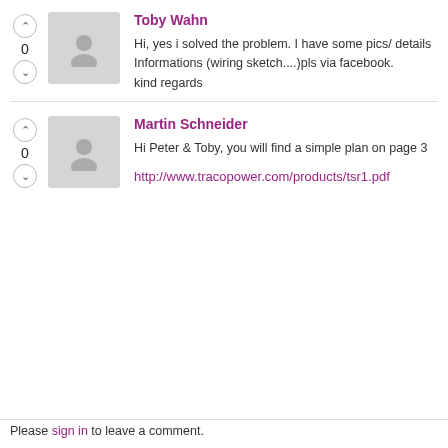Toby Wahn
Hi, yes i solved the problem. I have some pics/ details Informations (wiring sketch....)pls via facebook.
kind regards
Martin Schneider
Hi Peter & Toby,  you will find a simple plan on page 3
http://www.tracopower.com/products/tsr1.pdf
Please sign in to leave a comment.